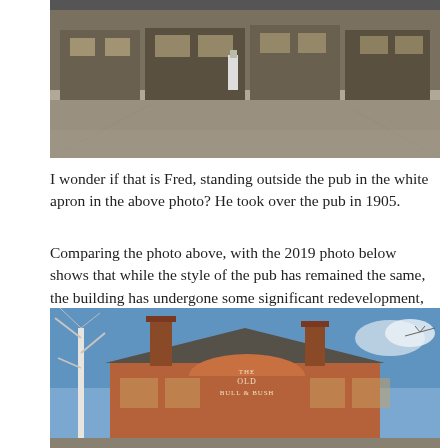[Figure (photo): Black and white historical photo of a pub exterior with a person standing outside in a white apron, wide empty road in foreground]
I wonder if that is Fred, standing outside the pub in the white apron in the above photo? He took over the pub in 1905.
Comparing the photo above, with the 2019 photo below shows that while the style of the pub has remained the same, the building has undergone some significant redevelopment, including the separation of the pub from the road by the wall and pavement.
[Figure (photo): 2019 colour photograph of The Old Bull & Bush pub, a red brick building with chimneys, a white birch tree in the foreground and blue sky above]